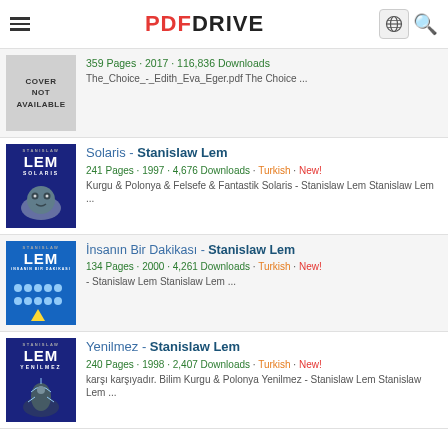PDF DRIVE
[Figure (screenshot): Cover not available placeholder - gray box with text COVER NOT AVAILABLE]
359 Pages · 2017 · 116,836 Downloads
The_Choice_-_Edith_Eva_Eger.pdf The Choice ...
[Figure (illustration): Solaris book cover by Stanislaw Lem - dark blue cover with alien figure]
Solaris - Stanislaw Lem
241 Pages · 1997 · 4,676 Downloads · Turkish · New!
Kurgu & Polonya & Felsefe & Fantastik Solaris - Stanislaw Lem Stanislaw Lem ...
[Figure (illustration): Insanin Bir Dakikasi book cover by Stanislaw Lem - blue cover with figures]
İnsanın Bir Dakikası - Stanislaw Lem
134 Pages · 2000 · 4,261 Downloads · Turkish · New!
- Stanislaw Lem Stanislaw Lem ...
[Figure (illustration): Yenilmez book cover by Stanislaw Lem - dark blue cover with figure]
Yenilmez - Stanislaw Lem
240 Pages · 1998 · 2,407 Downloads · Turkish · New!
karşı karşıyadır. Bilim Kurgu & Polonya Yenilmez - Stanislaw Lem Stanislaw Lem ...